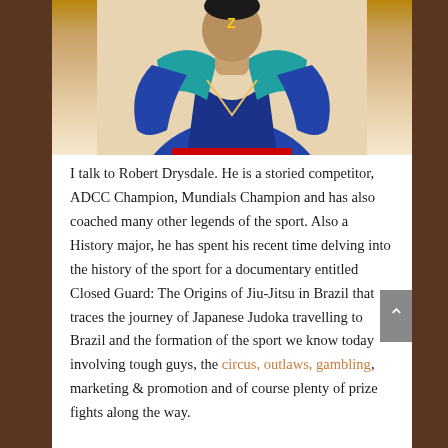[Figure (illustration): Illustration of Robert Drysdale wearing a blue gi (martial arts uniform) with teal/turquoise accents, shown from the torso up against a warm beige/cream background. The figure appears to be in a combat sport pose.]
I talk to Robert Drysdale. He is a storied competitor, ADCC Champion, Mundials Champion and has also coached many other legends of the sport. Also a History major, he has spent his recent time delving into the history of the sport for a documentary entitled Closed Guard: The Origins of Jiu-Jitsu in Brazil that traces the journey of Japanese Judoka travelling to Brazil and the formation of the sport we know today involving tough guys, the circus, outlaws, gambling, marketing & promotion and of course plenty of prize fights along the way.
The entire saga makes for a fascinating tale that